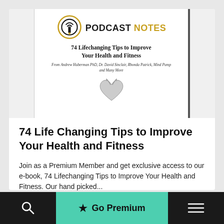[Figure (illustration): Book cover for '74 Lifechanging Tips to Improve Your Health and Fitness' from Podcast Notes, with pencil-lightbulb logo and heart anatomy illustration]
74 Life Changing Tips to Improve Your Health and Fitness
Join as a Premium Member and get exclusive access to our e-book, 74 Lifechanging Tips to Improve Your Health and Fitness. Our hand picked...
Go Premium